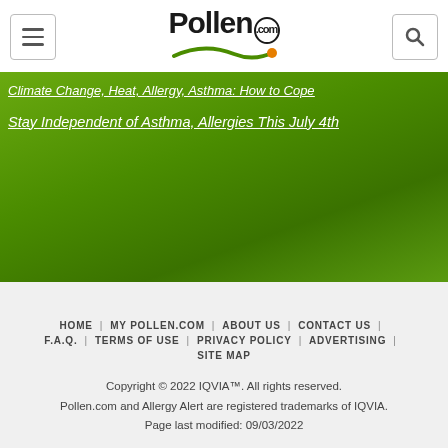Pollen.com
Climate Change, Heat, Allergy, Asthma: How to Cope
Stay Independent of Asthma, Allergies This July 4th
HOME | MY POLLEN.COM | ABOUT US | CONTACT US | F.A.Q. | TERMS OF USE | PRIVACY POLICY | ADVERTISING | SITE MAP
Copyright © 2022 IQVIA™. All rights reserved.
Pollen.com and Allergy Alert are registered trademarks of IQVIA.
Page last modified: 09/03/2022